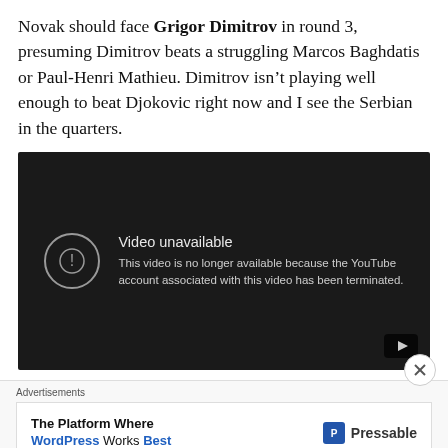Novak should face Grigor Dimitrov in round 3, presuming Dimitrov beats a struggling Marcos Baghdatis or Paul-Henri Mathieu. Dimitrov isn't playing well enough to beat Djokovic right now and I see the Serbian in the quarters.
[Figure (screenshot): YouTube video player showing 'Video unavailable' message: 'This video is no longer available because the YouTube account associated with this video has been terminated.' with a YouTube play button icon in the bottom right corner and a close (X) button overlay.]
Advertisements
[Figure (screenshot): Advertisement banner: 'The Platform Where WordPress Works Best' with Pressable logo on the right.]